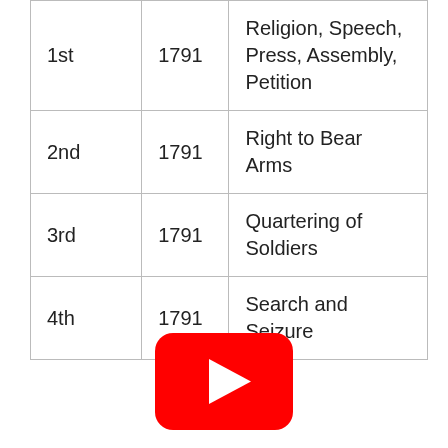| 1st | 1791 | Religion, Speech, Press, Assembly, Petition |
| 2nd | 1791 | Right to Bear Arms |
| 3rd | 1791 | Quartering of Soldiers |
| 4th | 1791 | Search and Seizure |
[Figure (other): YouTube play button logo — red rounded rectangle with white triangle play icon]